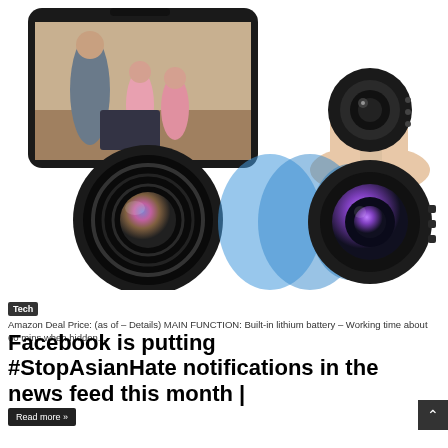[Figure (photo): Product image showing a mini hidden spy camera. Top half: a smartphone displaying a family (father and two children on a couch), and a tiny black circular camera held between fingers. Bottom half: a large camera lens on the left and a compact black circular mini camera on the right, with blue oval WiFi/signal graphics between them.]
Tech
Amazon Deal Price: (as of – Details) MAIN FUNCTION: Built-in lithium battery – Working time about 60 mins when hidden...
Facebook is putting #StopAsianHate notifications in the news feed this month |
Read more »